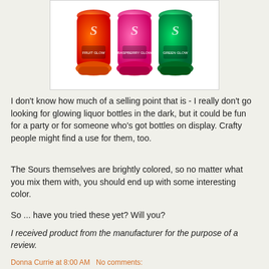[Figure (photo): Three brightly colored liquor bottles (red/orange, pink/magenta, and green) with an 'S' logo and glowing appearance, displayed against a white background in a bordered container.]
I don't know how much of a selling point that is - I really don't go looking for glowing liquor bottles in the dark, but it could be fun for a party or for someone who's got bottles on display. Crafty people might find a use for them, too.
The Sours themselves are brightly colored, so no matter what you mix them with, you should end up with some interesting color.
So ... have you tried these yet? Will you?
I received product from the manufacturer for the purpose of a review.
Donna Currie at 8:00 AM   No comments: